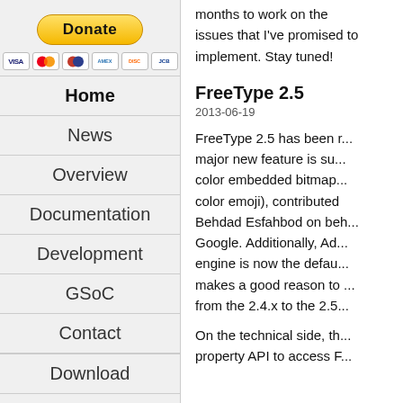[Figure (other): PayPal Donate button with credit card icons (Visa, Mastercard, Maestro, American Express, Discover, JCB)]
Home
News
Overview
Documentation
Development
GSoC
Contact
Download
Licenses
months to work on the issues that I've promised to implement. Stay tuned!
FreeType 2.5
2013-06-19
FreeType 2.5 has been released. Its major new feature is support for color embedded bitmaps (eg. color emoji), contributed by Behdad Esfahbod on behalf of Google. Additionally, Adobe's CFF engine is now the default, which makes a good reason to upgrade from the 2.4.x to the 2.5.x series.
On the technical side, there is a new property API to access FreeType